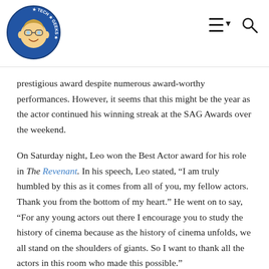Movie TV Tech Geeks [logo] [navigation icons]
prestigious award despite numerous award-worthy performances. However, it seems that this might be the year as the actor continued his winning streak at the SAG Awards over the weekend.
On Saturday night, Leo won the Best Actor award for his role in The Revenant. In his speech, Leo stated, “I am truly humbled by this as it comes from all of you, my fellow actors. Thank you from the bottom of my heart.” He went on to say, “For any young actors out there I encourage you to study the history of cinema because as the history of cinema unfolds, we all stand on the shoulders of giants. So I want to thank all the actors in this room who made this possible.”
In addition to receiving the Best Actor SAG Award, Leo also took home the equivalent award at this year’s Golden Globes. Therefore, it is not